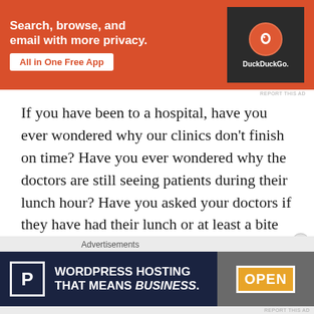[Figure (screenshot): DuckDuckGo advertisement banner on orange and dark background: 'Search, browse, and email with more privacy. All in One Free App' with DuckDuckGo logo]
If you have been to a hospital, have you ever wondered why our clinics don't finish on time? Have you ever wondered why the doctors are still seeing patients during their lunch hour? Have you asked your doctors if they have had their lunch or at least a bite to eat from morning?
If you do, I guess you will find out how 'selfish' they really are.
[Figure (screenshot): WordPress Hosting advertisement banner: 'WORDPRESS HOSTING THAT MEANS BUSINESS.' with P logo and OPEN sign image]
Advertisements